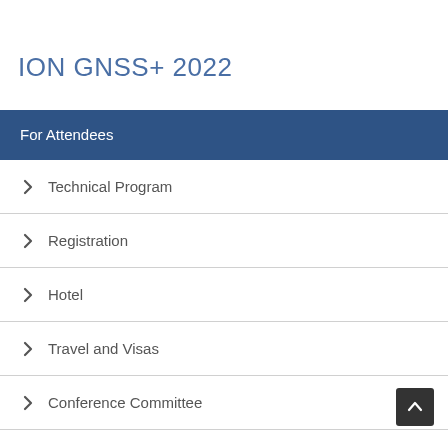ION GNSS+ 2022
For Attendees
Technical Program
Registration
Hotel
Travel and Visas
Conference Committee
COVID-19 Information
Smartphone Decimeter Challenge